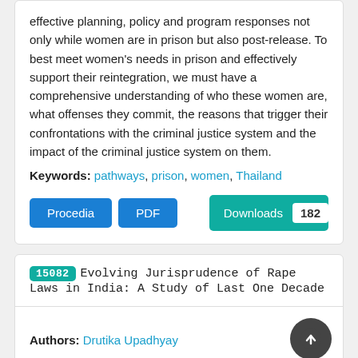effective planning, policy and program responses not only while women are in prison but also post-release. To best meet women's needs in prison and effectively support their reintegration, we must have a comprehensive understanding of who these women are, what offenses they commit, the reasons that trigger their confrontations with the criminal justice system and the impact of the criminal justice system on them.
Keywords: pathways, prison, women, Thailand
Procedia | PDF | Downloads 182
15082 Evolving Jurisprudence of Rape Laws in India: A Study of Last One Decade
Authors: Drutika Upadhyay